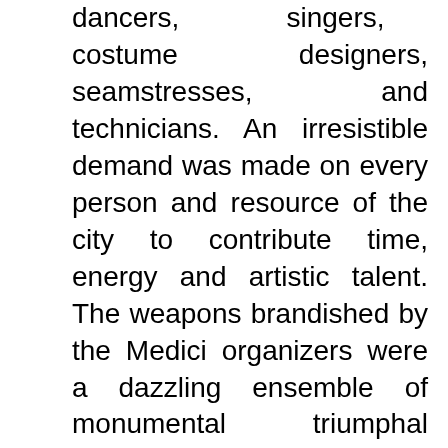dancers, singers, costume designers, seamstresses, and technicians. An irresistible demand was made on every person and resource of the city to contribute time, energy and artistic talent. The weapons brandished by the Medici organizers were a dazzling ensemble of monumental triumphal arches complete with inscriptions, enormous painted canvases, sculpture, obelisks, columns, and even faux facades. Passing through and in front of these space-altering structures were hundreds of elegantly dressed aristocrats riding on specially appointed carriages, accompanied by musicians playing music expressly commissioned for the event. Theatrical events, such as La Guerra d'Amore discussed below, called for magnificent floats pulled by fantastical animals and carrying